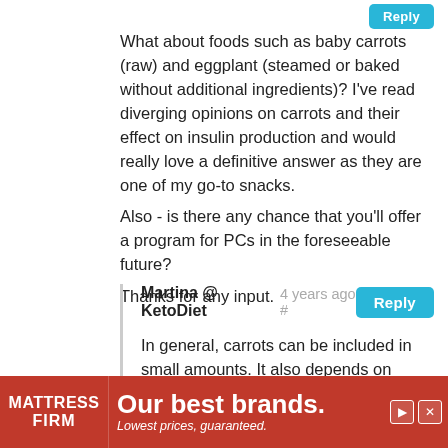What about foods such as baby carrots (raw) and eggplant (steamed or baked without additional ingredients)? I've read diverging opinions on carrots and their effect on insulin production and would really love a definitive answer as they are one of my go-to snacks.
Also - is there any chance that you'll offer a program for PCs in the foreseeable future?
Thanks for any input.
Martina @ KetoDiet  4 years ago #
In general, carrots can be included in small amounts. It also depends on individual body responses (some people will experience blood sugar spikes even with small amounts). and on
[Figure (other): Advertisement banner for Mattress Firm with red background, logo on left, and text 'Our best brands. Lowest prices, guaranteed.']